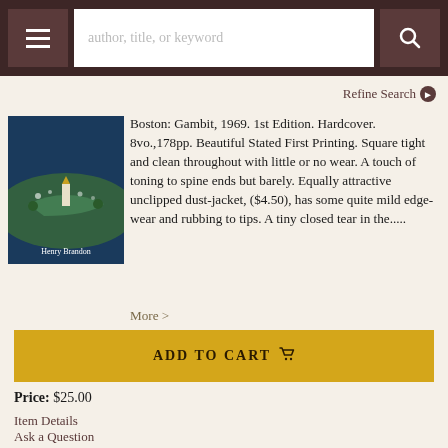author, title, or keyword | Refine Search
[Figure (illustration): Book cover illustration showing aerial view of landscape with 'Henry Brandon' author name on cover]
Boston: Gambit, 1969. 1st Edition. Hardcover. 8vo.,178pp. Beautiful Stated First Printing. Square tight and clean throughout with little or no wear. A touch of toning to spine ends but barely. Equally attractive unclipped dust-jacket, ($4.50), has some quite mild edge-wear and rubbing to tips. A tiny closed tear in the.....
More >
ADD TO CART
Price: $25.00
Item Details
Ask a Question